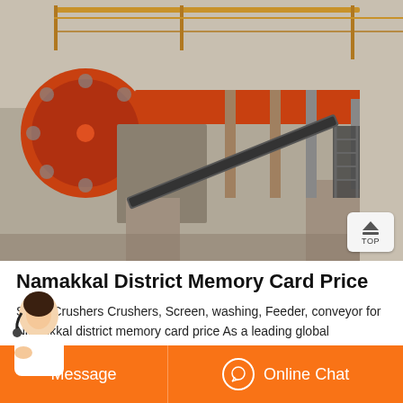[Figure (photo): Outdoor industrial stone crusher machine with orange flywheel on the left, orange metal frame/conveyor structure, concrete support pillars, and a conveyor belt leading diagonally down. Rocky quarry environment in background.]
Namakkal District Memory Card Price
Stone Crushers Crushers, Screen, washing, Feeder, conveyor for Namakkal district memory card price As a leading global manufacturer of crushing, grinding and mining equipments, we offer advanced, reasonable solutions for any size-reduction requirements including, Namakkal district memory card price, quarry, aggregate